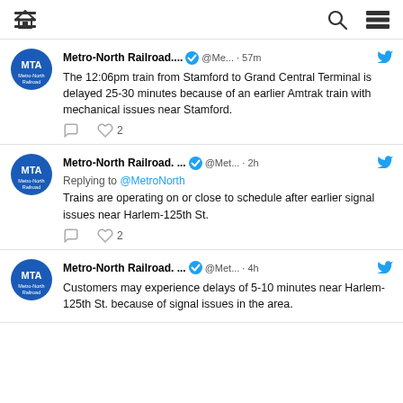home | search | menu
Metro-North Railroad.... @Me... · 57m — The 12:06pm train from Stamford to Grand Central Terminal is delayed 25-30 minutes because of an earlier Amtrak train with mechanical issues near Stamford.
Metro-North Railroad. ... @Met... · 2h — Replying to @MetroNorth — Trains are operating on or close to schedule after earlier signal issues near Harlem-125th St.
Metro-North Railroad. ... @Met... · 4h — Customers may experience delays of 5-10 minutes near Harlem-125th St. because of signal issues in the area.